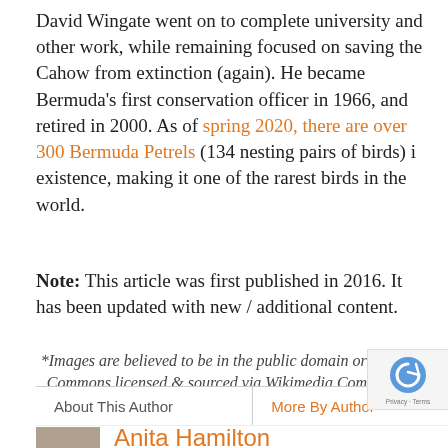David Wingate went on to complete university and other work, while remaining focused on saving the Cahow from extinction (again). He became Bermuda's first conservation officer in 1966, and retired in 2000. As of spring 2020, there are over 300 Bermuda Petrels (134 nesting pairs of birds) i existence, making it one of the rarest birds in the world.
Note: This article was first published in 2016. It has been updated with new / additional content.
*Images are believed to be in the public domain or Creative Commons licensed & sourced via Wikimedia Commons or Flickr, unless otherwise noted*
About This Author | More By Author
Anita Hamilton